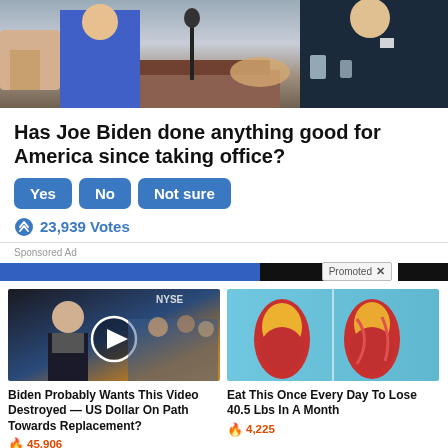[Figure (photo): Photo of people shaking hands at what appears to be a formal event or podium, partial view showing suits and hands]
Has Joe Biden done anything good for America since taking office?
Yes | No | Not sure (vote buttons)
23,939 Votes
Sponsored Ad
Promoted X
[Figure (photo): Video thumbnail showing a man in a suit in a TV studio with NYSE visible in background]
Biden Probably Wants This Video Destroyed — US Dollar On Path Towards Replacement?
45,906
[Figure (photo): Medical illustration showing comparison of leg/knee anatomy with fat deposits highlighted in yellow and red]
Eat This Once Every Day To Lose 40.5 Lbs In A Month
4,225